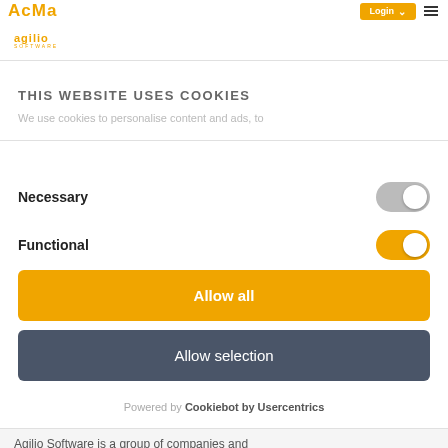AcMa  Login
[Figure (logo): Agilio software logo in orange/yellow text]
THIS WEBSITE USES COOKIES
We use cookies to personalise content and ads, to
Necessary
Functional
Allow all
Allow selection
Powered by Cookiebot by Usercentrics
Agilio Software is a group of companies and